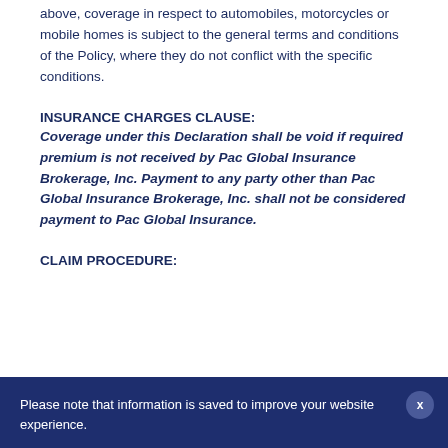above, coverage in respect to automobiles, motorcycles or mobile homes is subject to the general terms and conditions of the Policy, where they do not conflict with the specific conditions.
INSURANCE CHARGES CLAUSE:
Coverage under this Declaration shall be void if required premium is not received by Pac Global Insurance Brokerage, Inc. Payment to any party other than Pac Global Insurance Brokerage, Inc. shall not be considered payment to Pac Global Insurance.
CLAIM PROCEDURE:
Please note that information is saved to improve your website experience.